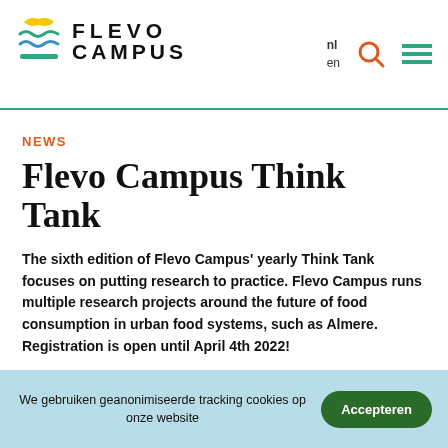[Figure (logo): Flevo Campus logo with stylized leaf/wave icon and bold text FLEVO CAMPUS]
nl en [search icon] [menu icon]
NEWS
Flevo Campus Think Tank
The sixth edition of Flevo Campus' yearly Think Tank focuses on putting research to practice. Flevo Campus runs multiple research projects around the future of food consumption in urban food systems, such as Almere. Registration is open until April 4th 2022!
We gebruiken geanonimiseerde tracking cookies op onze website